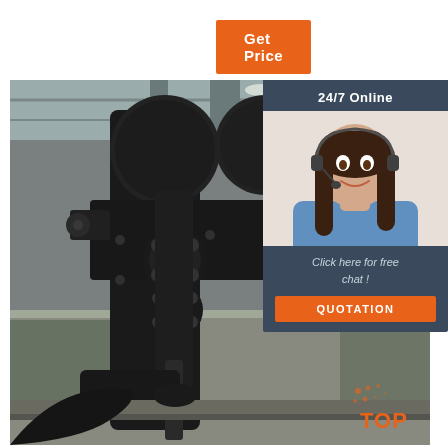Get Price
[Figure (photo): Industrial machine — large black mechanical press or stamping machine photographed in a factory/warehouse setting]
24/7 Online
[Figure (photo): Female customer service agent wearing a headset, smiling]
Click here for free chat !
QUOTATION
[Figure (logo): TOP logo with orange dot-pattern design]